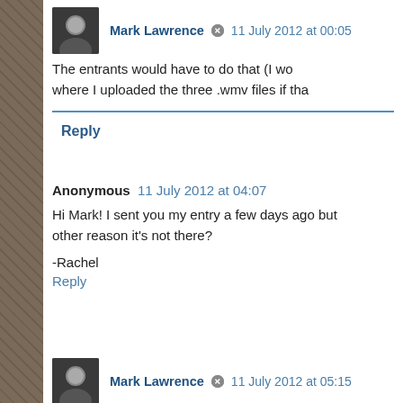Mark Lawrence  11 July 2012 at 00:05
The entrants would have to do that (I wo where I uploaded the three .wmv files if tha
Reply
Anonymous  11 July 2012 at 04:07
Hi Mark! I sent you my entry a few days ago but other reason it's not there?
-Rachel
Reply
Mark Lawrence  11 July 2012 at 05:15